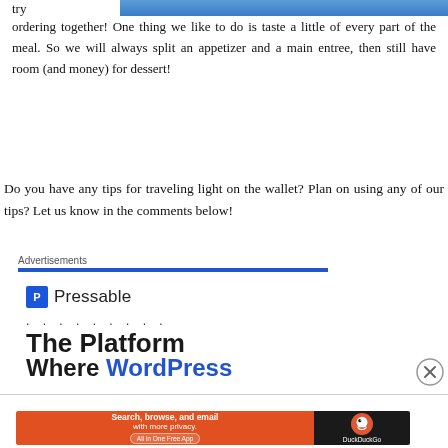[Figure (photo): Partial blue photo strip at top right of page]
try ordering together! One thing we like to do is taste a little of every part of the meal. So we will always split an appetizer and a main entree, then still have room (and money) for dessert!
Do you have any tips for traveling light on the wallet? Plan on using any of our tips? Let us know in the comments below!
Advertisements
[Figure (screenshot): Pressable advertisement showing logo with blue P icon and the text 'Pressable' with dots below, then large bold text 'The Platform Where WordPress']
Advertisements
[Figure (screenshot): DuckDuckGo advertisement: orange banner reading 'Search, browse, and email with more privacy. All in One Free App' with DuckDuckGo logo on dark background]